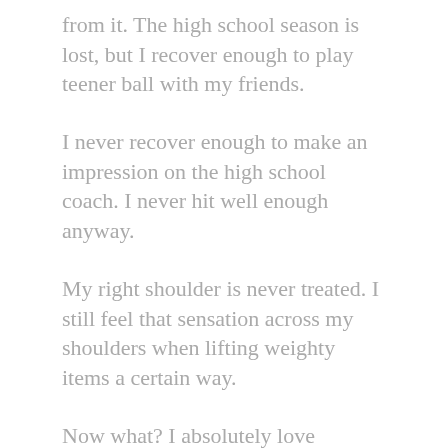from it. The high school season is lost, but I recover enough to play teener ball with my friends.
I never recover enough to make an impression on the high school coach. I never hit well enough anyway.
My right shoulder is never treated. I still feel that sensation across my shoulders when lifting weighty items a certain way.
Now what? I absolutely love baseball. I love to play. I love its strategy.
It's the perfectly balanced sport between team and individual performance. Its math adds up: three outs per inning, nine innings, 90 feet between perfectly